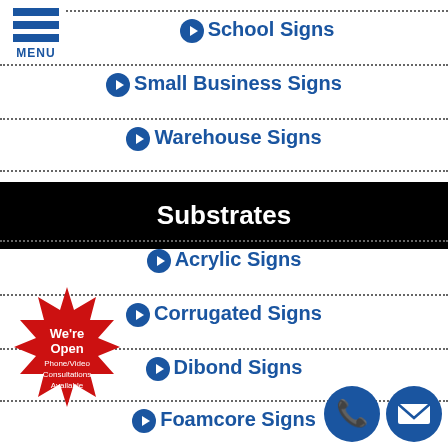[Figure (logo): Blue horizontal menu icon with three bars and MENU text]
School Signs
Small Business Signs
Warehouse Signs
Substrates
Acrylic Signs
Corrugated Signs
Dibond Signs
Foamcore Signs
[Figure (infographic): Red starburst badge with text: We're Open Phone/Video Consultations Available]
[Figure (infographic): Blue circle phone icon and blue circle email icon]